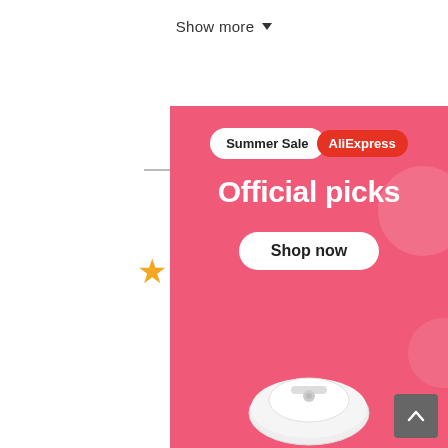Show more ▼
[Figure (infographic): Rating display showing number 5 in a dashed circle with horizontal lines on both sides, the word 'Rating' below, and five gold stars]
[Figure (infographic): AliExpress Summer Sale banner: pink background with 'Summer Sale' badge and 'AliExpress' red badge, 'Official picks' heading, 'Shop now' button, and a robot vacuum cleaner product image at the bottom]